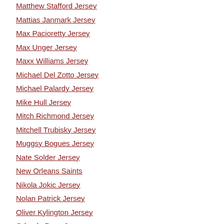Matthew Stafford Jersey
Mattias Janmark Jersey
Max Pacioretty Jersey
Max Unger Jersey
Maxx Williams Jersey
Michael Del Zotto Jersey
Michael Palardy Jersey
Mike Hull Jersey
Mitch Richmond Jersey
Mitchell Trubisky Jersey
Muggsy Bogues Jersey
Nate Solder Jersey
New Orleans Saints
Nikola Jokic Jersey
Nolan Patrick Jersey
Oliver Kylington Jersey
Orlando Pace Jersey
Ozzie Smith Jersey
Patrick Chung Jersey
Pernell McPhee Jersey
Peter Forsberg Jersey